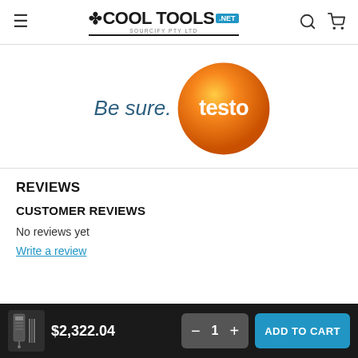Cool Tools .net — navigation header with hamburger menu, logo, search and cart icons
[Figure (logo): Testo brand logo: orange sphere with 'testo' text in white, beside italic text 'Be sure.' in teal/dark blue]
REVIEWS
CUSTOMER REVIEWS
No reviews yet
Write a review
$2,322.04  — quantity selector (1) — ADD TO CART